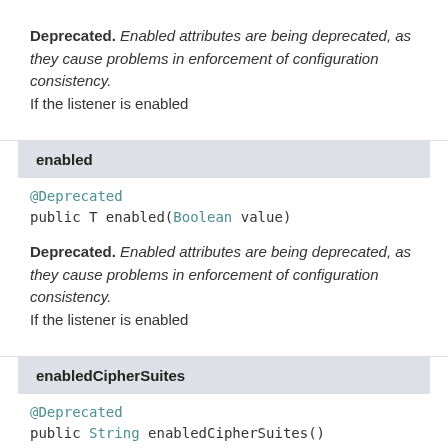Deprecated. Enabled attributes are being deprecated, as they cause problems in enforcement of configuration consistency. If the listener is enabled
enabled
@Deprecated
public T enabled(Boolean value)
Deprecated. Enabled attributes are being deprecated, as they cause problems in enforcement of configuration consistency. If the listener is enabled
enabledCipherSuites
@Deprecated
public String enabledCipherSuites()
Deprecated. Where an SSLContext is referenced it should be configured with the cipher suites to